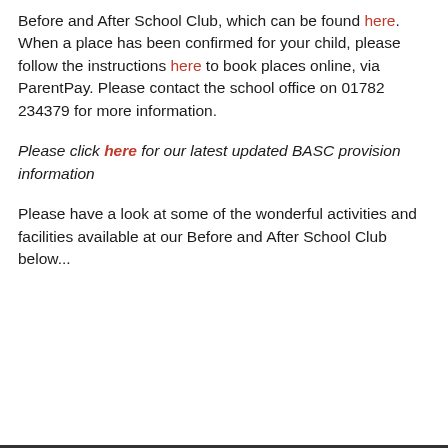Before and After School Club, which can be found here. When a place has been confirmed for your child, please follow the instructions here to book places online, via ParentPay. Please contact the school office on 01782 234379 for more information.
Please click here for our latest updated BASC provision information
Please have a look at some of the wonderful activities and facilities available at our Before and After School Club below...